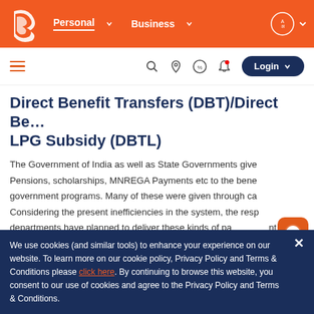[Figure (logo): Bank of Baroda logo and top navigation bar with Personal, Business links and language selector]
[Figure (screenshot): Secondary navigation bar with hamburger menu, search, location, offers, notification icons and Login button]
Direct Benefit Transfers (DBT)/Direct Benefit Transfer for LPG Subsidy (DBTL)
The Government of India as well as State Governments give Pensions, scholarships, MNREGA Payments etc to the beneficiaries of government programs. Many of these were given through cash. Considering the present inefficiencies in the system, the responsible departments have planned to deliver these kinds of payments by way of direct credit in the accounts of the beneficiaries. The scheme also provides that the Government of India subsidises LPG to domestic users directly as opposed against indirectly to producers. The DBTL scheme was rolle
We use cookies (and similar tools) to enhance your experience on our website. To learn more on our cookie policy, Privacy Policy and Terms & Conditions please click here. By continuing to browse this website, you consent to our use of cookies and agree to the Privacy Policy and Terms & Conditions.